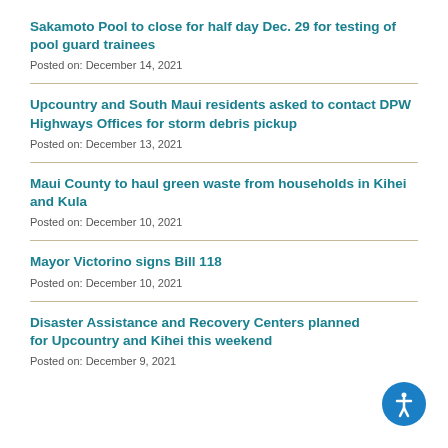Sakamoto Pool to close for half day Dec. 29 for testing of pool guard trainees
Posted on: December 14, 2021
Upcountry and South Maui residents asked to contact DPW Highways Offices for storm debris pickup
Posted on: December 13, 2021
Maui County to haul green waste from households in Kihei and Kula
Posted on: December 10, 2021
Mayor Victorino signs Bill 118
Posted on: December 10, 2021
Disaster Assistance and Recovery Centers planned for Upcountry and Kihei this weekend
Posted on: December 9, 2021